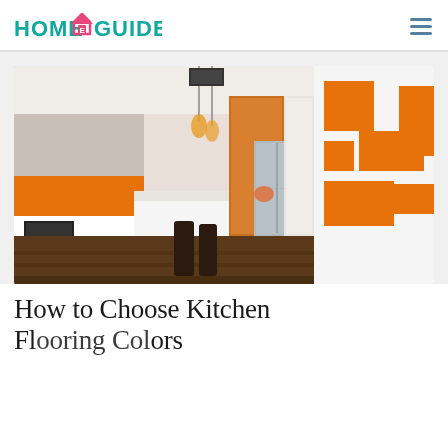HOME E GUIDE
[Figure (photo): Modern kitchen interior with orange and white color scheme, featuring an island bench, orange cabinetry accents, pendant lights, stainless steel appliances, and orange geometric shelving on the right wall.]
How to Choose Kitchen Flooring Colors